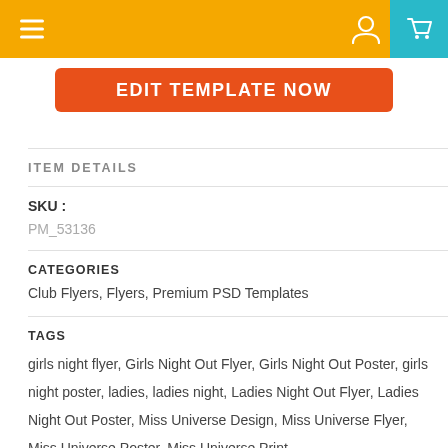Navigation bar with menu, user, and cart icons
[Figure (other): Orange button with text EDIT TEMPLATE NOW on white background]
ITEM DETAILS
SKU : PM_53136
CATEGORIES
Club Flyers, Flyers, Premium PSD Templates
TAGS
girls night flyer, Girls Night Out Flyer, Girls Night Out Poster, girls night poster, ladies, ladies night, Ladies Night Out Flyer, Ladies Night Out Poster, Miss Universe Design, Miss Universe Flyer, Miss Universe Poster, Miss Universe Print